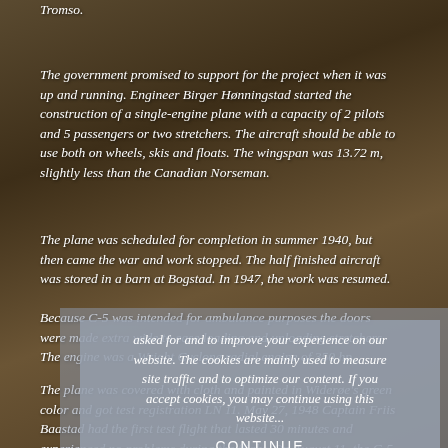Tromso.
The government promised to support for the project when it was up and running. Engineer Birger Hønningstad started the construction of a single-engine plane with a capacity of 2 pilots and 5 passengers or two stretchers. The aircraft should be able to use both on wheels, skis and floats. The wingspan was 13.72 m, slightly less than the Canadian Norseman.
The plane was scheduled for completion in summer 1940, but then came the war and work stopped. The half finished aircraft was stored in a barn at Bogstad. In 1947, the work was resumed.
Because C-5 was intended for ambulance purposes the doors were made extra wide to ease loading and unloading stretchers. The engine was a Wright Cyclone radial engine of 350 hp.
The plane was covered with cloth and painted in Widerøe's green color and got test registration LN 11. May 27, 1948 Captain Friis Baastad had the first test flight that lasted 30 minutes and experienced no problems during the flight. On August 11, the C-5 polar serial no. 01 was given registration LN-DBW. Some minor adjustments were made, but the aircraft proved to have great handling.
asked for and to improve your experience on our website. The cookies are mainly used to measure site traffic and to optimize our content. If you accept cookies, you may continue using this website...
CONTINUE